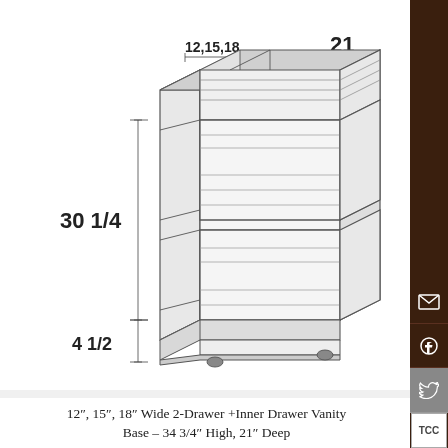[Figure (engineering-diagram): Isometric line drawing of a 2-drawer plus inner drawer vanity base cabinet showing width dimensions 12,15,18 across the top, depth dimension 21, height dimension 30 1/4, and toe-kick dimension 4 1/2. Cabinet has two front drawers and one inner drawer visible at top.]
12", 15", 18" Wide 2-Drawer +Inner Drawer Vanity Base – 34 3/4" High, 21" Deep